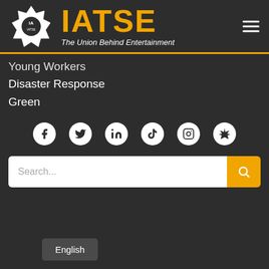IATSE — The Union Behind Entertainment
Young Workers
Disaster Response
Green
[Figure (infographic): Row of social media icons: Facebook, Twitter, LinkedIn, TikTok, Instagram, and a Canadian maple leaf icon, all white on circular white backgrounds against dark background]
Search...
English